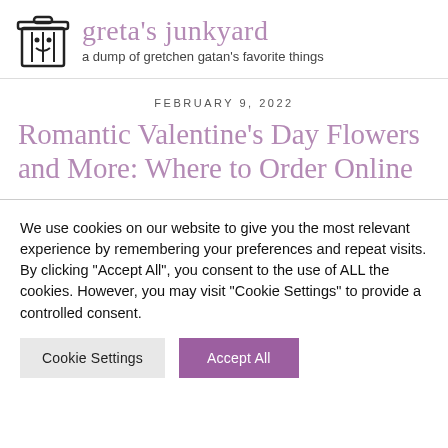greta's junkyard — a dump of gretchen gatan's favorite things
FEBRUARY 9, 2022
Romantic Valentine's Day Flowers and More: Where to Order Online
We use cookies on our website to give you the most relevant experience by remembering your preferences and repeat visits. By clicking "Accept All", you consent to the use of ALL the cookies. However, you may visit "Cookie Settings" to provide a controlled consent.